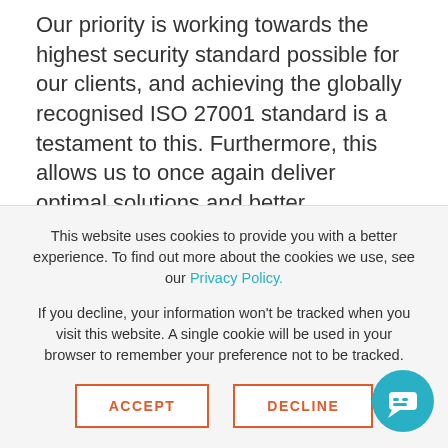Our priority is working towards the highest security standard possible for our clients, and achieving the globally recognised ISO 27001 standard is a testament to this. Furthermore, this allows us to once again deliver optimal solutions and better assurances about the way in which we manage confidential and sensitive data, enhancing our reputation.
As data and information security continue to rapidly change, CTI Digital places importance on the means to apply better defences to our client's processes and tech to protect data security and achieving the ISO 27001
This website uses cookies to provide you with a better experience. To find out more about the cookies we use, see our Privacy Policy.
If you decline, your information won't be tracked when you visit this website. A single cookie will be used in your browser to remember your preference not to be tracked.